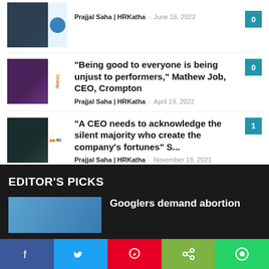[Figure (photo): Person in suit with arms crossed, partial view at top, with circular logo]
Prajjal Saha | HRKatha  –  June 16, 2022
“Being good to everyone is being unjust to performers,” Mathew Job, CEO, Crompton
Prajjal Saha | HRKatha  –  April 19, 2022
“A CEO needs to acknowledge the silent majority who create the company’s fortunes” S…
Prajjal Saha | HRKatha  –  November 18, 2021
EDITOR'S PICKS
Googlers demand abortion